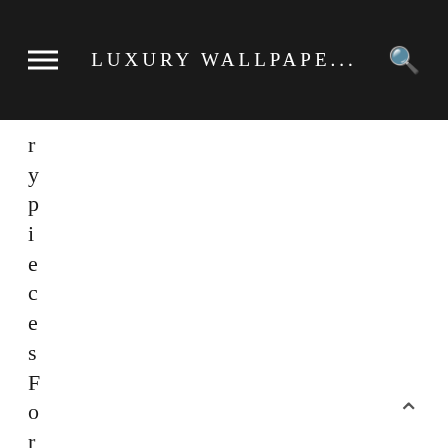LUXURY WALLPAPE...
rypiecesFOrYourItal